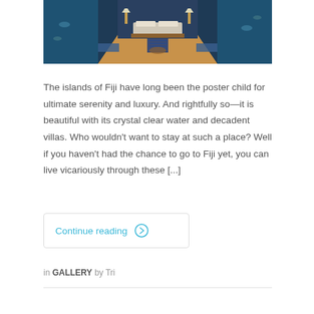[Figure (photo): Interior of a luxury underwater hotel room in Fiji, showing a bed with lamps, wooden flooring with a blue striped rug, and aquarium-style glass walls revealing ocean and fish on both sides.]
The islands of Fiji have long been the poster child for ultimate serenity and luxury. And rightfully so—it is beautiful with its crystal clear water and decadent villas. Who wouldn't want to stay at such a place? Well if you haven't had the chance to go to Fiji yet, you can live vicariously through these [...]
Continue reading →
in GALLERY by Tri